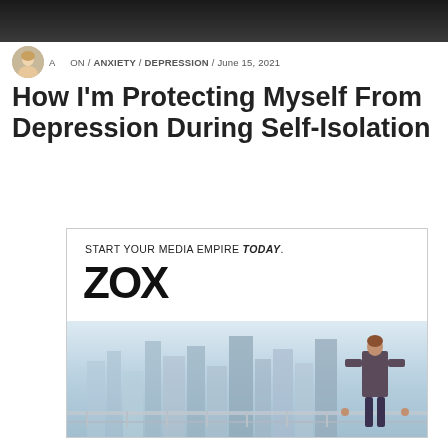[Figure (photo): Dark banner image at the top of the page]
AP ON / ANXIETY / DEPRESSION / June 15, 2021
How I'm Protecting Myself From Depression During Self-Isolation
[Figure (illustration): Advertisement box: START YOUR MEDIA EMPIRE TODAY. ZOX. BUY NOW button with city skyline and businessman figure in background.]